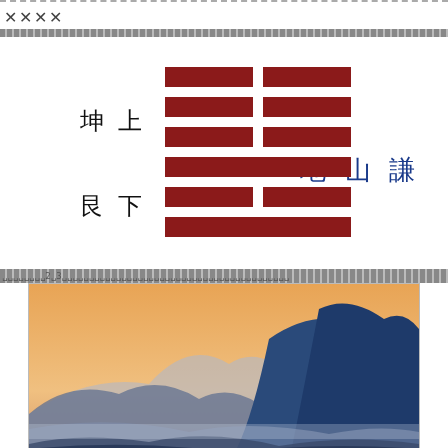[Figure (illustration): I Ching hexagram 15 (Di Shan Qian / Earth over Mountain) shown with dark red broken and solid lines, labeled with Chinese characters 坤上 (Kun above), 艮下 (Gen below), and 地山謙 (Di Shan Qian) to the right]
[Figure (illustration): Traditional Chinese watercolor painting of blue mountains with an orange/warm sky background — multiple mountain ridges in varying shades of blue and grey fading into mist]